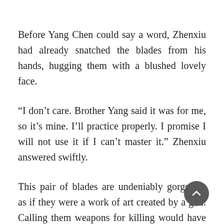Before Yang Chen could say a word, Zhenxiu had already snatched the blades from his hands, hugging them with a blushed lovely face.
“I don’t care. Brother Yang said it was for me, so it’s mine. I’ll practice properly. I promise I will not use it if I can’t master it.” Zhenxiu answered swiftly.
This pair of blades are undeniably gorgeous, as if they were a work of art created by a god. Calling them weapons for killing would have tainted the honor conferred upon them. Its